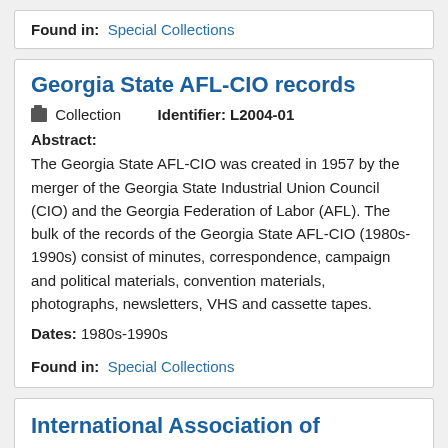Found in: Special Collections
Georgia State AFL-CIO records
Collection   Identifier: L2004-01
Abstract: The Georgia State AFL-CIO was created in 1957 by the merger of the Georgia State Industrial Union Council (CIO) and the Georgia Federation of Labor (AFL). The bulk of the records of the Georgia State AFL-CIO (1980s-1990s) consist of minutes, correspondence, campaign and political materials, convention materials, photographs, newsletters, VHS and cassette tapes.
Dates: 1980s-1990s
Found in: Special Collections
International Association of